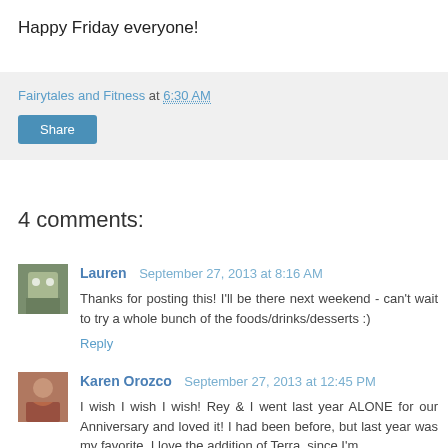Happy Friday everyone!
Fairytales and Fitness at 6:30 AM
Share
4 comments:
Lauren September 27, 2013 at 8:16 AM
Thanks for posting this! I'll be there next weekend - can't wait to try a whole bunch of the foods/drinks/desserts :)
Reply
Karen Orozco September 27, 2013 at 12:45 PM
I wish I wish I wish! Rey & I went last year ALONE for our Anniversary and loved it! I had been before, but last year was my favorite. I love the addition of Terra, since I'm